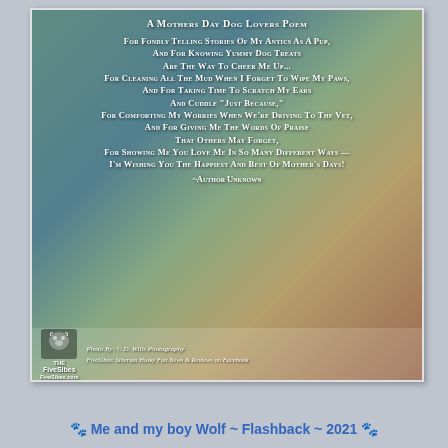[Figure (illustration): Illustrated image of a dog and person with poem text overlaid on a decorative painted background, with FiveSibes logo and watermarks]
A Mothers Day Dog Lovers Poem
For Fondly Telling Stories Of My Antics As A Pup,
And For Knowing Yummy Dog Treats
Are The Way To Cheer Me Up...
For Cleaning All The Mud When I Forget To Wipe My Paws,
And For Taking Time To Scratch My Ears
And Cuddle "Just Because,"
For Comforting My Worries When We're Driving To The Vet,
And For Giving Me The Words Of Praise
That Others May Forget,
For Showing Me You Love Me In So Many Different Ways —
I'm Wishing You The Happiest And Best Of Mother's Days!
~Author Unknown
🐾 Me and my boy Wolf ~ Flashback ~ 2021 🐾